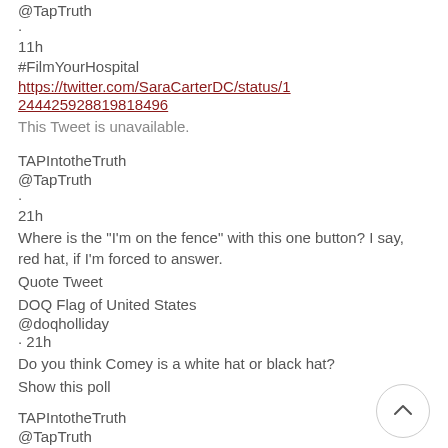@TapTruth
·
11h
#FilmYourHospital
https://twitter.com/SaraCarterDC/status/1244425928819818496
This Tweet is unavailable.
TAPIntotheTruth
@TapTruth
·
21h
Where is the "I'm on the fence" with this one button?  I say, red hat, if I'm forced to answer.
Quote Tweet
DOQ Flag of United States
@doqholliday
· 21h
Do you think Comey is a white hat or black hat?
Show this poll
TAPIntotheTruth
@TapTruth
·
21h